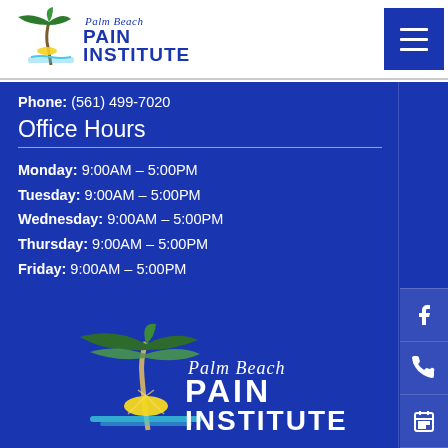[Figure (logo): Palm Beach Pain Institute logo with palm tree and sun graphic, text reads 'Palm Beach Pain Institute']
Phone: (561) 499-7020
Office Hours
Monday: 9:00AM – 5:00PM
Tuesday: 9:00AM – 5:00PM
Wednesday: 9:00AM – 5:00PM
Thursday: 9:00AM – 5:00PM
Friday: 9:00AM – 5:00PM
[Figure (logo): Palm Beach Pain Institute logo (large version) with palm trees, sun/spine graphic, and text 'Palm Beach Pain Institute']